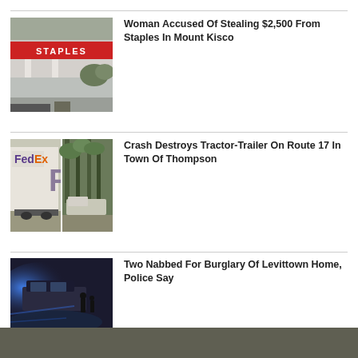[Figure (photo): Exterior photo of a Staples store]
Woman Accused Of Stealing $2,500 From Staples In Mount Kisco
[Figure (photo): Two-panel photo of a FedEx tractor-trailer crash, showing overturned trailer and wooded crash scene]
Crash Destroys Tractor-Trailer On Route 17 In Town Of Thompson
[Figure (photo): Police scene at night with blue emergency lights]
Two Nabbed For Burglary Of Levittown Home, Police Say